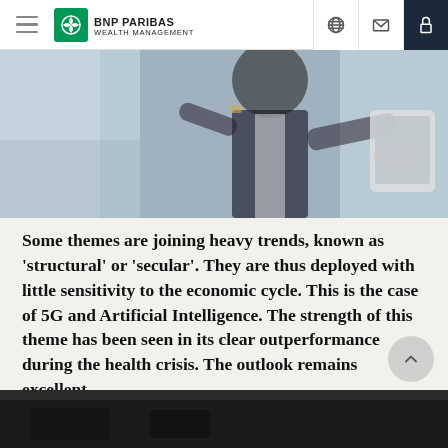BNP PARIBAS WEALTH MANAGEMENT
[Figure (photo): A man in a dark suit gesturing with his hands, likely presenting to someone, with a digital tablet or screen visible in the background. Business/professional setting.]
Some themes are joining heavy trends, known as 'structural' or 'secular'. They are thus deployed with little sensitivity to the economic cycle. This is the case of 5G and Artificial Intelligence. The strength of this theme has been seen in its clear outperformance during the health crisis. The outlook remains excellent.
[Figure (photo): Partial view of a dark background image at the bottom of the page, cut off.]